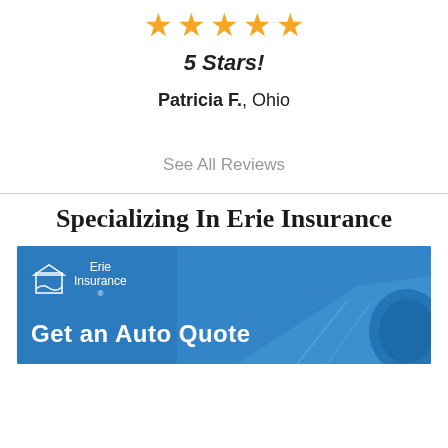[Figure (illustration): Five gold star rating icons in a row]
5 Stars!
Patricia F., Ohio
See All Reviews
Specializing In Erie Insurance
[Figure (infographic): Erie Insurance banner ad with blue background, road/car image overlay, Erie Insurance logo, and text 'Get an Auto Quote']